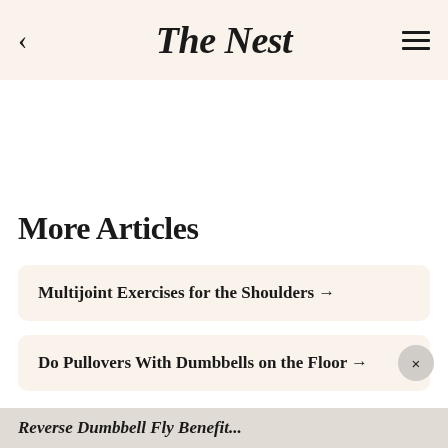The Nest
More Articles
Multijoint Exercises for the Shoulders →
Do Pullovers With Dumbbells on the Floor →
Reverse Dumbbell Fly Benefits